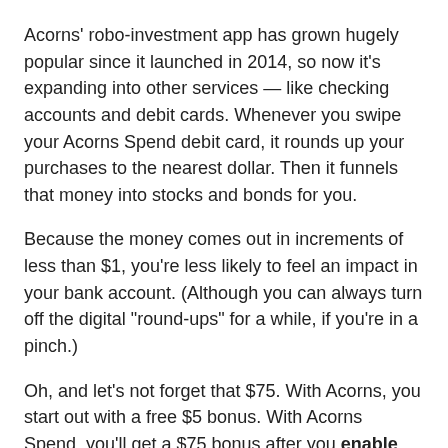Acorns' robo-investment app has grown hugely popular since it launched in 2014, so now it's expanding into other services — like checking accounts and debit cards. Whenever you swipe your Acorns Spend debit card, it rounds up your purchases to the nearest dollar. Then it funnels that money into stocks and bonds for you.
Because the money comes out in increments of less than $1, you're less likely to feel an impact in your bank account. (Although you can always turn off the digital "round-ups" for a while, if you're in a pinch.)
Oh, and let's not forget that $75. With Acorns, you start out with a free $5 bonus. With Acorns Spend, you'll get a $75 bonus after you enable direct deposit and receive your first two deposits in your Spend account.